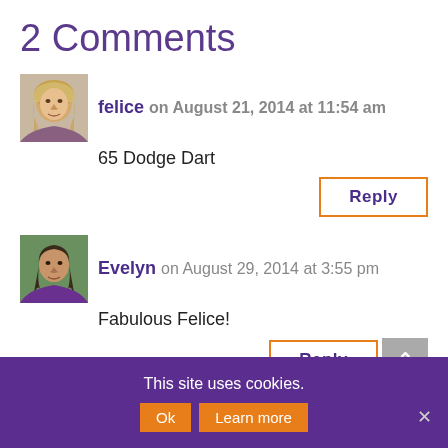2 Comments
felice on August 21, 2014 at 11:54 am
65 Dodge Dart
Reply
Evelyn on August 29, 2014 at 3:55 pm
Fabulous Felice!
Reply
This site uses cookies.
Ok
Learn more